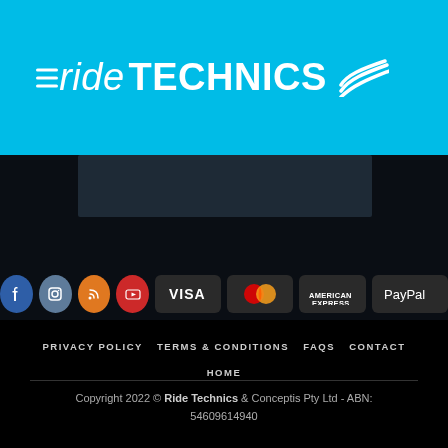rideTECHNICS
[Figure (logo): rideTECHNICS logo with wing icon on cyan/blue header bar]
[Figure (infographic): Social media icons (Facebook, Instagram, RSS, YouTube) and payment method badges (VISA, MasterCard, American Express, PayPal)]
PRIVACY POLICY   TERMS & CONDITIONS   FAQS   CONTACT   HOME
Copyright 2022 © Ride Technics & Conceptis Pty Ltd - ABN: 54609614940